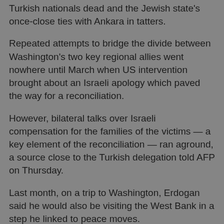Turkish nationals dead and the Jewish state's once-close ties with Ankara in tatters.
Repeated attempts to bridge the divide between Washington's two key regional allies went nowhere until March when US intervention brought about an Israeli apology which paved the way for a reconciliation.
However, bilateral talks over Israeli compensation for the families of the victims — a key element of the reconciliation — ran aground, a source close to the Turkish delegation told AFP on Thursday.
Last month, on a trip to Washington, Erdogan said he would also be visiting the West Bank in a step he linked to peace moves.
“It will not be a visit only to Gaza. I will also go to the West Bank,” Erdogan said.
“I place a lot of significance on this visit in terms of peace in